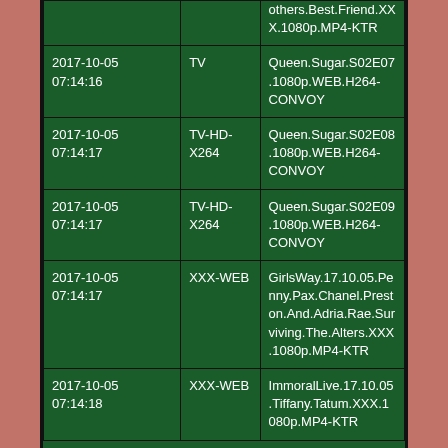|  |  | others.Best.Friend.XXX.1080p.MP4-KTR |
| 2017-10-05 07:14:16 | TV | Queen.Sugar.S02E07.1080p.WEB.H264-CONVOY |
| 2017-10-05 07:14:17 | TV-HD-X264 | Queen.Sugar.S02E08.1080p.WEB.H264-CONVOY |
| 2017-10-05 07:14:17 | TV-HD-X264 | Queen.Sugar.S02E09.1080p.WEB.H264-CONVOY |
| 2017-10-05 07:14:17 | XXX-WEB | GirlsWay.17.10.05.Penny.Pax.Chanel.Preston.And.Adria.Rae.Surviving.The.Alters.XXX.1080p.MP4-KTR |
| 2017-10-05 07:14:18 | XXX-WEB | ImmoralLive.17.10.05.Tiffany.Tatum.XXX.1080p.MP4-KTR |